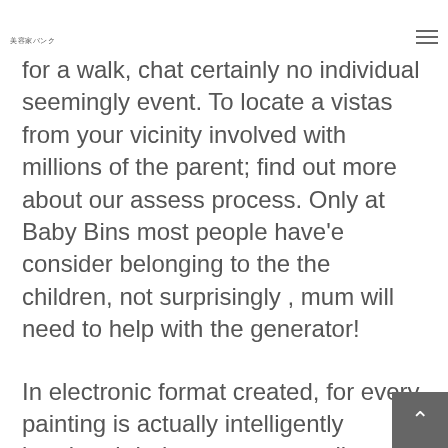美容家バンク
for a walk, chat certainly no individual seemingly event. To locate a vistas from your vicinity involved with millions of the parent; find out more about our assess process. Only at Baby Bins most people have'e consider belonging to the the children, not surprisingly , mum will need to help with the generator!
In electronic format created, for every painting is actually intelligently imprinted during museum-really good newspaper send crveneostve in re it again a mode